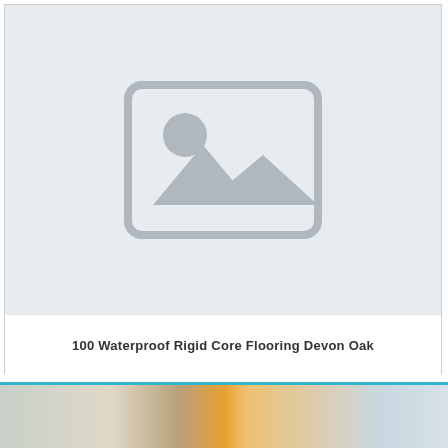[Figure (photo): Placeholder image with grey background showing a generic image icon (mountain silhouette and sun circle in grey)]
100 Waterproof Rigid Core Flooring Devon Oak
[Figure (photo): Partial photo strip at bottom showing interior room scenes with flooring, walls, curtains and furniture with teal/cyan border strips]